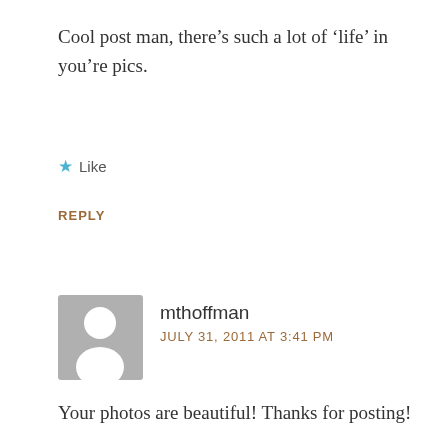Cool post man, there’s such a lot of ‘life’ in you’re pics.
★ Like
REPLY
[Figure (illustration): Default user avatar: grey square with a white silhouette of a person (head and shoulders)]
mthoffman
JULY 31, 2011 AT 3:41 PM
Your photos are beautiful! Thanks for posting!